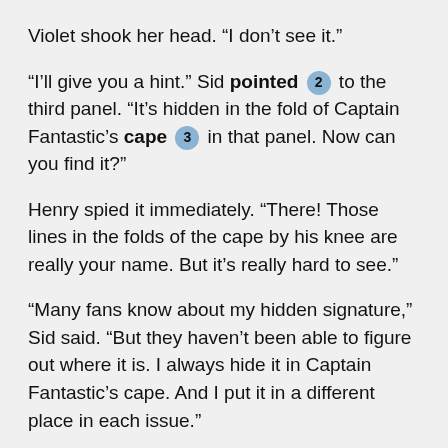Violet shook her head. “I don’t see it.”
“I’ll give you a hint.” Sid pointed [2] to the third panel. “It’s hidden in the fold of Captain Fantastic’s cape [3] in that panel. Now can you find it?”
Henry spied it immediately. “There! Those lines in the folds of the cape by his knee are really your name. But it’s really hard to see.”
“Many fans know about my hidden signature,” Sid said. “But they haven’t been able to figure out where it is. I always hide it in Captain Fantastic’s cape. And I put it in a different place in each issue.”
Jessie was comparing Sid’s copy of number nine with theirs. “Ours doesn’t have the secret signature! Just lines.”